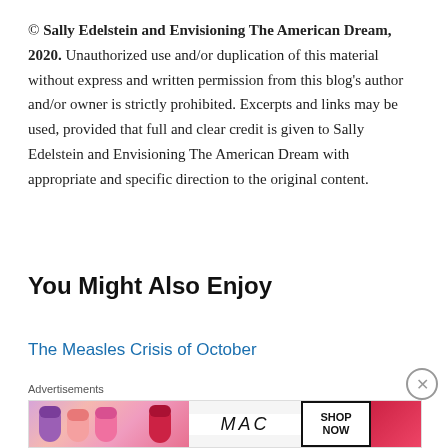© Sally Edelstein and Envisioning The American Dream, 2020. Unauthorized use and/or duplication of this material without express and written permission from this blog's author and/or owner is strictly prohibited. Excerpts and links may be used, provided that full and clear credit is given to Sally Edelstein and Envisioning The American Dream with appropriate and specific direction to the original content.
You Might Also Enjoy
The Measles Crisis of October
Advertisements
[Figure (other): MAC cosmetics advertisement showing lipsticks in purple, pink and red tones with MAC logo and SHOP NOW button]